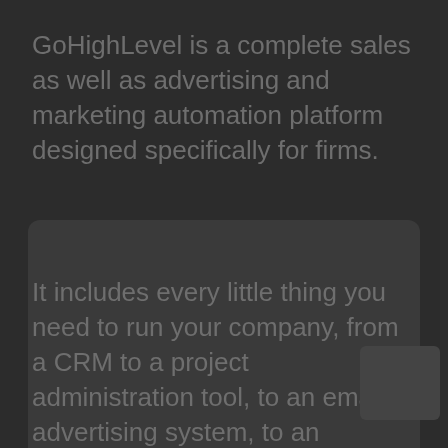GoHighLevel is a complete sales as well as advertising and marketing automation platform designed specifically for firms.
It includes every little thing you need to run your company, from a CRM to a project administration tool, to an email advertising system, to an agreement monitoring system.
And also, it comes with an integrated blogging system and social media sites management tool, so you can conveniently take care of as well as develop material for your customers.
GoHighLevel is a fantastic choice for